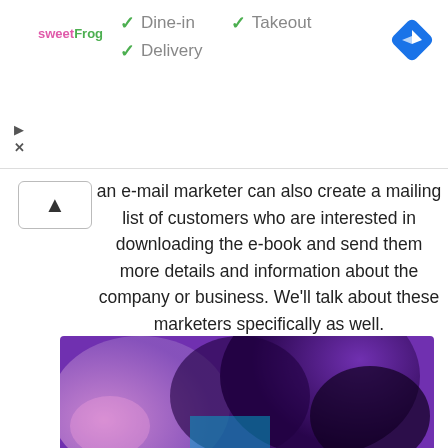[Figure (screenshot): Ad banner for sweetFrog restaurant showing Dine-in, Takeout, and Delivery options with checkmarks, a navigation/directions icon, and play/close controls]
an e-mail marketer can also create a mailing list of customers who are interested in downloading the e-book and send them more details and information about the company or business. We'll talk about these marketers specifically as well.
• Types of electronic (digital) marketing:
[Figure (photo): Blurred abstract image with purple, pink and dark tones suggesting a digital/tech theme]